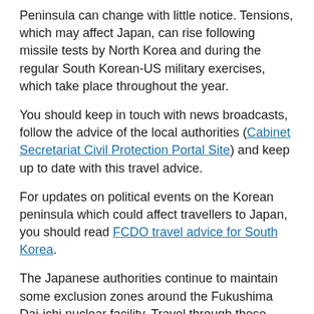Peninsula can change with little notice. Tensions, which may affect Japan, can rise following missile tests by North Korea and during the regular South Korean-US military exercises, which take place throughout the year.
You should keep in touch with news broadcasts, follow the advice of the local authorities (Cabinet Secretariat Civil Protection Portal Site) and keep up to date with this travel advice.
For updates on political events on the Korean peninsula which could affect travellers to Japan, you should read FCDO travel advice for South Korea.
The Japanese authorities continue to maintain some exclusion zones around the Fukushima Dai-ichi nuclear facility. Travel through these zones on some designated trunk roads is allowed. Follow local signs and instructions while travelling in this area. See Fukushima
Attacks in Japan cannot be ruled out. See Terrorism
To contact the emergency services call 110 (police) or 119 (fire and ambulance). Calls are free of charge from any